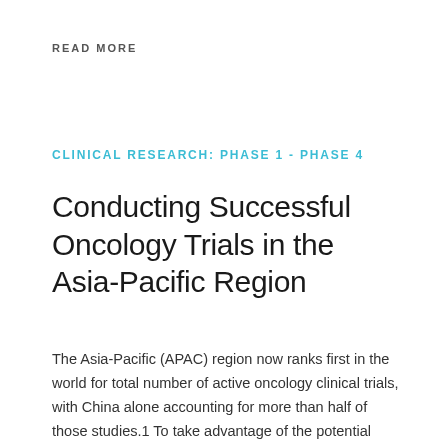READ MORE
CLINICAL RESEARCH: PHASE 1 - PHASE 4
Conducting Successful Oncology Trials in the Asia-Pacific Region
The Asia-Pacific (APAC) region now ranks first in the world for total number of active oncology clinical trials, with China alone accounting for more than half of those studies.1 To take advantage of the potential benefits of conducting clinical research in APAC countries, sponsors need to understand the nuances of designing